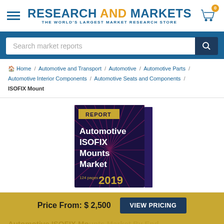RESEARCH AND MARKETS - THE WORLD'S LARGEST MARKET RESEARCH STORE
Search market reports
Home / Automotive and Transport / Automotive / Automotive Parts / Automotive Interior Components / Automotive Seats and Components / ISOFIX Mount
[Figure (illustration): Book cover for the Automotive ISOFIX Mounts Market report, 124 pages, 2019. Dark purple/navy background with radial burst lines in pink/magenta. Gold banner at top reads REPORT. White bold text: Automotive ISOFIX Mounts Market. Golden text: 2019.]
Price From: $ 2,500
VIEW PRICING
Automotive ISOFIX Mo...End-